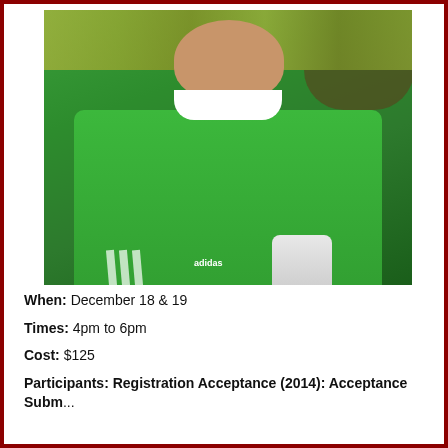[Figure (photo): Photo of a soccer goalkeeper wearing a bright green Atlanta United jersey with American Family Insurance sponsor and Adidas logo, holding white goalkeeper gloves]
When:  December 18 & 19
Times:  4pm to 6pm
Cost: $125
Participants: Registration Acceptance (2014): Acceptance Submission